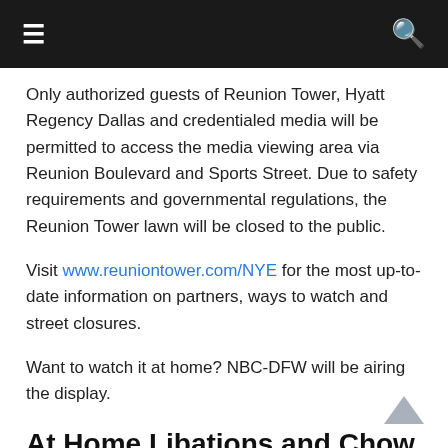≡  🔍
Only authorized guests of Reunion Tower, Hyatt Regency Dallas and credentialed media will be permitted to access the media viewing area via Reunion Boulevard and Sports Street. Due to safety requirements and governmental regulations, the Reunion Tower lawn will be closed to the public.
Visit www.reuniontower.com/NYE for the most up-to-date information on partners, ways to watch and street closures.
Want to watch it at home? NBC-DFW will be airing the display.
At Home Libations and Chow
The folks at Casa Dragones Tequila have provided a nice